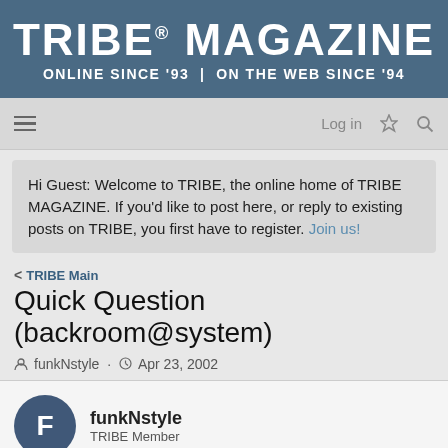[Figure (logo): TRIBE MAGAZINE logo with tagline ONLINE SINCE '93 | ON THE WEB SINCE '94 on a steel blue background]
Log in
Hi Guest: Welcome to TRIBE, the online home of TRIBE MAGAZINE. If you'd like to post here, or reply to existing posts on TRIBE, you first have to register. Join us!
< TRIBE Main
Quick Question (backroom@system)
funkNstyle · Apr 23, 2002
funkNstyle
TRIBE Member
Apr 23, 2002  #1